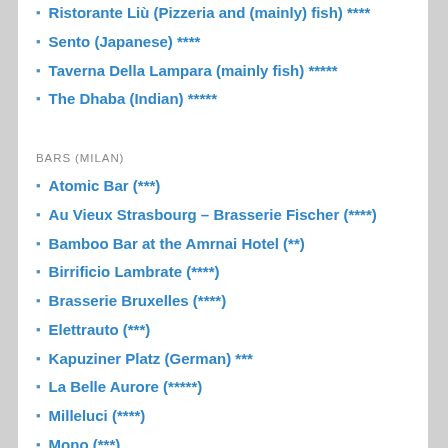Ristorante Liù (Pizzeria and (mainly) fish) ****
Sento (Japanese) ****
Taverna Della Lampara (mainly fish) *****
The Dhaba (Indian) *****
BARS (MILAN)
Atomic Bar (***)
Au Vieux Strasbourg – Brasserie Fischer (****)
Bamboo Bar at the Amrnai Hotel (**)
Birrificio Lambrate (****)
Brasserie Bruxelles (****)
Elettrauto (***)
Kapuziner Platz (German) ***
La Belle Aurore (*****)
Milleluci (****)
Mono (***)
Polpetta (****)
Santeria
RESTAURANTS (ITALY, EXCLUDING MILAN)